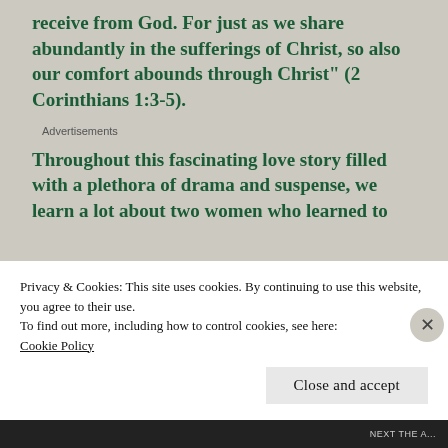receive from God. For just as we share abundantly in the sufferings of Christ, so also our comfort abounds through Christ” (2 Corinthians 1:3-5).
Advertisements
Throughout this fascinating love story filled with a plethora of drama and suspense, we learn a lot about two women who learned to
Privacy & Cookies: This site uses cookies. By continuing to use this website, you agree to their use.
To find out more, including how to control cookies, see here: Cookie Policy
Close and accept